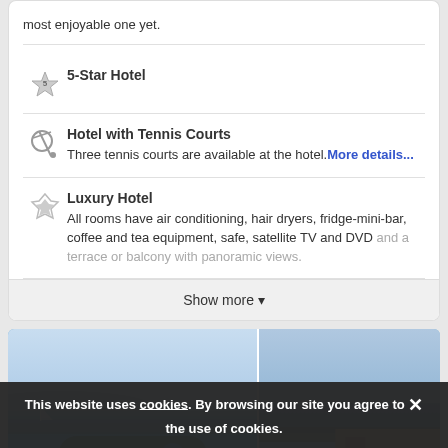most enjoyable one yet.
5-Star Hotel
Hotel with Tennis Courts
Three tennis courts are available at the hotel. More details...
Luxury Hotel
All rooms have air conditioning, hair dryers, fridge-mini-bar, coffee and tea equipment, safe, satellite TV and DVD and a terrace or balcony with panoramic views.
Show more
[Figure (photo): Two hotel/sea view photos side by side with Categories overlay]
This website uses cookies. By browsing our site you agree to the use of cookies.